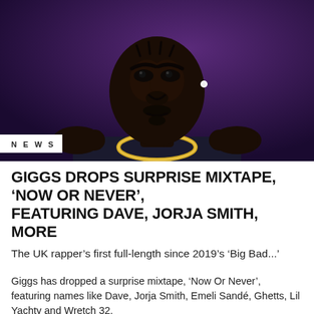[Figure (illustration): Digital illustration/cartoon of a Black man (Giggs) wearing a dark t-shirt and gold chain necklace, looking intensely at the camera with a furrowed brow, hands raised near shoulders in a gesture, against a dark purple background.]
NEWS
GIGGS DROPS SURPRISE MIXTAPE, ‘NOW OR NEVER’, FEATURING DAVE, JORJA SMITH, MORE
The UK rapper’s first full-length since 2019’s ‘Big Bad...’
Giggs has dropped a surprise mixtape, ‘Now Or Never’, featuring names like Dave, Jorja Smith, Emeli Sandé, Ghetts, Lil Yachty and Wretch 32.
It’s the...